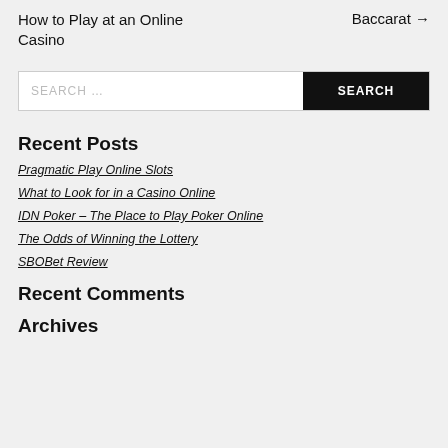How to Play at an Online Casino
Baccarat →
SEARCH …
Recent Posts
Pragmatic Play Online Slots
What to Look for in a Casino Online
IDN Poker – The Place to Play Poker Online
The Odds of Winning the Lottery
SBOBet Review
Recent Comments
Archives